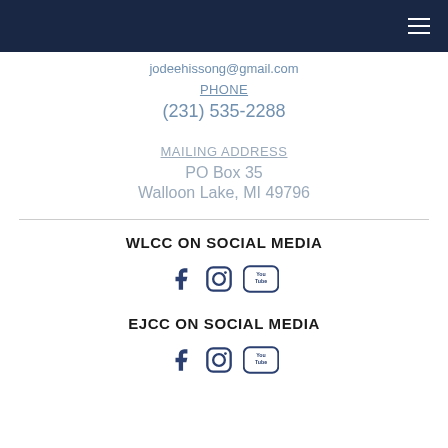jodeehissong@gmail.com
PHONE
(231) 535-2288
MAILING ADDRESS
PO Box 35
Walloon Lake, MI 49796
WLCC ON SOCIAL MEDIA
[Figure (illustration): Social media icons: Facebook, Instagram, YouTube]
EJCC ON SOCIAL MEDIA
[Figure (illustration): Social media icons: Facebook, Instagram, YouTube]